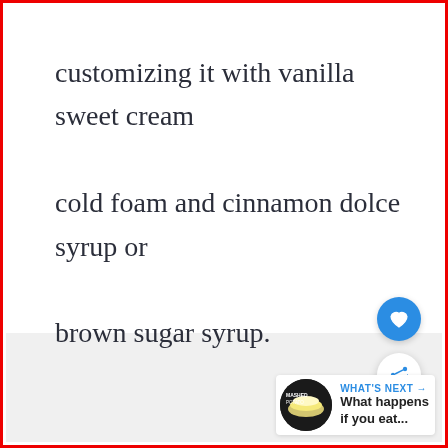customizing it with vanilla sweet cream cold foam and cinnamon dolce syrup or brown sugar syrup.
[Figure (screenshot): UI overlay with a blue heart/like button circle and a white share button circle, plus a 'WHAT'S NEXT' card with thumbnail image and text 'What happens if you eat...']